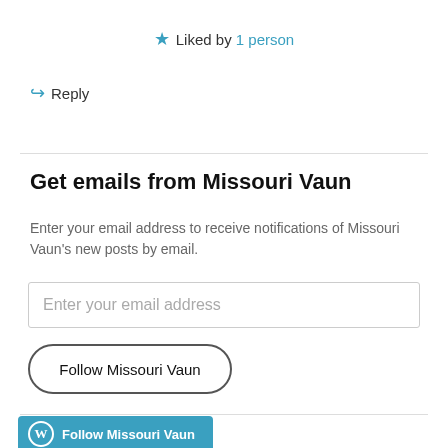★ Liked by 1 person
↪ Reply
Get emails from Missouri Vaun
Enter your email address to receive notifications of Missouri Vaun's new posts by email.
Enter your email address
Follow Missouri Vaun
Follow Missouri Vaun